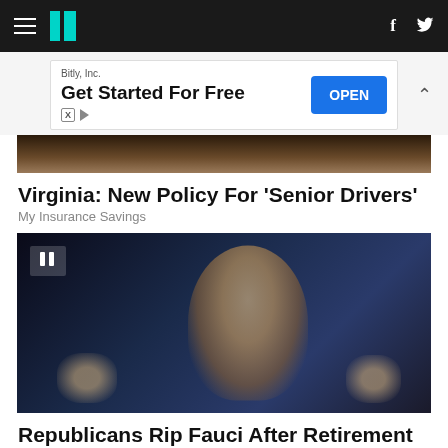HuffPost navigation bar with hamburger menu, logo, Facebook and Twitter icons
[Figure (other): Advertisement banner: Bitly, Inc. - Get Started For Free with OPEN button]
[Figure (photo): Partial photo of hands visible, dark background - top of article image]
Virginia: New Policy For 'Senior Drivers'
My Insurance Savings
[Figure (photo): Photo of Dr. Anthony Fauci speaking with hands raised, American flag in background, dark background with HuffPost quote icon overlay]
Republicans Rip Fauci After Retirement Announcement
HuffPost